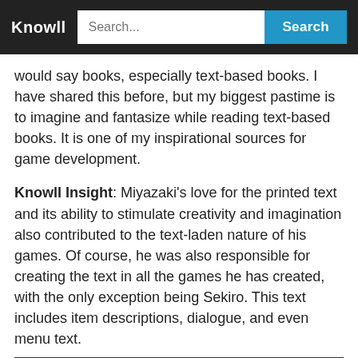Knowll | Search...
would say books, especially text-based books. I have shared this before, but my biggest pastime is to imagine and fantasize while reading text-based books. It is one of my inspirational sources for game development.
Knowll Insight: Miyazaki's love for the printed text and its ability to stimulate creativity and imagination also contributed to the text-laden nature of his games. Of course, he was also responsible for creating the text in all the games he has created, with the only exception being Sekiro. This text includes item descriptions, dialogue, and even menu text.